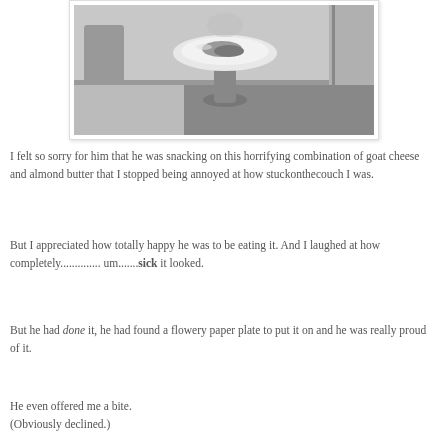[Figure (photo): Black and white photo of a plate with food (goat cheese and almond butter) on what appears to be a pedestal or stand, with a room visible in the background including carpet and hardwood floor.]
I felt so sorry for him that he was snacking on this horrifying combination of goat cheese and almond butter that I stopped being annoyed at how stuckonthecouch I was.
But I appreciated how totally happy he was to be eating it. And I laughed at how completely............. um.......sick it looked.
But he had done it, he had found a flowery paper plate to put it on and he was really proud of it.
He even offered me a bite.
(Obviously declined.)